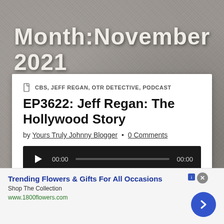Month:November 2021
CBS, JEFF REGAN, OTR DETECTIVE, PODCAST
EP3622: Jeff Regan: The Hollywood Story
by Yours Truly Johnny Blogger • 0 Comments
[Figure (other): Audio player with play button, time display 00:00, progress bar, and end time 00:00 on dark background]
Podcast: Play in new window | Download
[Figure (other): Advertisement banner: Trending Flowers & Gifts For All Occasions. Shop The Collection. www.1800flowers.com. Blue circle arrow button on right.]